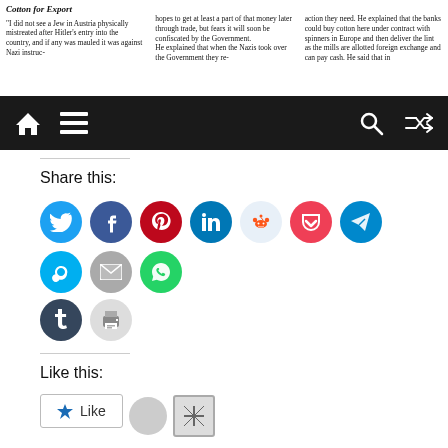[Figure (screenshot): Newspaper clipping with three columns of text. Left column heading reads 'Cotton for Export'. Text in columns discusses Jews in Austria, Nazi government, and cotton trade.]
[Figure (screenshot): Dark navigation bar with home icon, hamburger menu icon on the left, and search and shuffle icons on the right.]
Share this:
[Figure (infographic): Row of social media sharing icons: Twitter (blue), Facebook (blue), Pinterest (red), LinkedIn (dark teal), Reddit (light blue), Pocket (red), Telegram (blue), Skype (blue), Email (gray), WhatsApp (green), Tumblr (dark blue), Print (gray).]
Like this:
[Figure (screenshot): Like button with star icon, two avatar placeholders next to it.]
2 bloggers like this.
Related